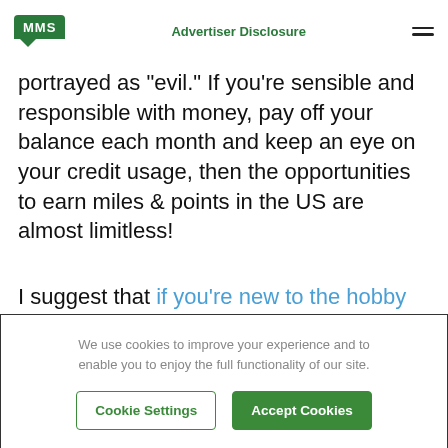MMS | Advertiser Disclosure
portrayed as "evil." If you're sensible and responsible with money, pay off your balance each month and keep an eye on your credit usage, then the opportunities to earn miles & points in the US are almost limitless!
I suggest that if you're new to the hobby to start off by transferring your everyday spend from your debit card to a credit card. Get used to this approach, read a little more here on
We use cookies to improve your experience and to enable you to enjoy the full functionality of our site.
Cookie Settings | Accept Cookies